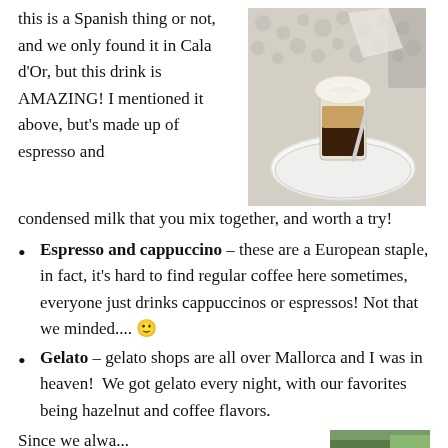this is a Spanish thing or not, and we only found it in Cala d'Or, but this drink is AMAZING! I mentioned it above, but's made up of espresso and condensed milk that you mix together, and worth a try!
[Figure (photo): A layered coffee drink in a glass on a white plate, topped with whipped cream, on a patterned tablecloth.]
Espresso and cappuccino – these are a European staple, in fact, it's hard to find regular coffee here sometimes, everyone just drinks cappuccinos or espressos! Not that we minded.... 🙂
Gelato – gelato shops are all over Mallorca and I was in heaven!  We got gelato every night, with our favorites being hazelnut and coffee flavors.
Since we alwa...
[Figure (photo): Partial photo visible at bottom right corner of the page.]